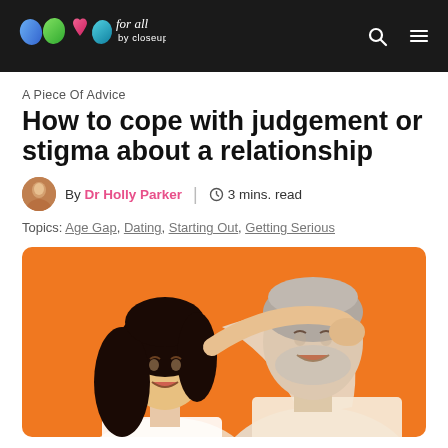LOVE for all by closeup
A Piece Of Advice
How to cope with judgement or stigma about a relationship
By Dr Holly Parker | 3 mins. read
Topics: Age Gap, Dating, Starting Out, Getting Serious
[Figure (photo): A smiling couple with foreheads touching against an orange background — a younger woman with dark hair and an older man with grey stubble, arms around each other]